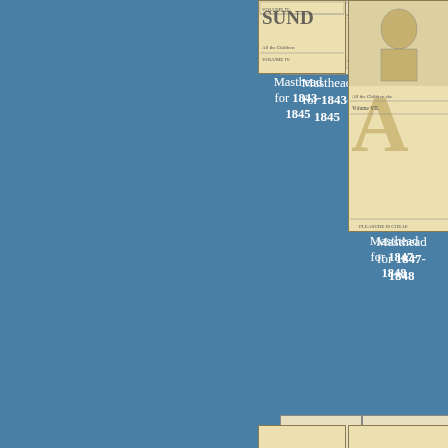[Figure (photo): Masthead image for 1843-1845]
Masthead for 1843-1845
[Figure (photo): Masthead image for 1847-1848]
Masthead for 1847-1848
[Figure (photo): Masthead image for 1849]
Masthead for 1849
[Figure (photo): Masthead image for 1854-1855]
for 1854-1855
[Figure (photo): Masthead images bottom row]